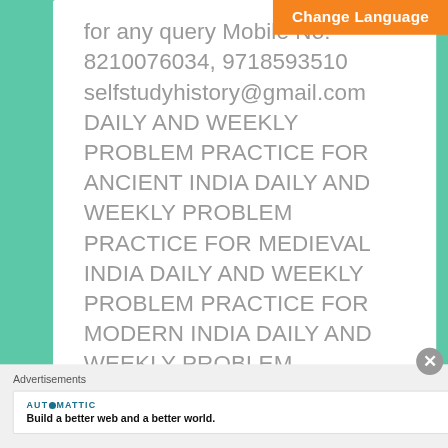Change Language
8210076034, 9718593510 selfstudyhistory@gmail.com DAILY AND WEEKLY PROBLEM PRACTICE FOR ANCIENT INDIA DAILY AND WEEKLY PROBLEM PRACTICE FOR MEDIEVAL INDIA DAILY AND WEEKLY PROBLEM PRACTICE FOR MODERN INDIA DAILY AND WEEKLY PROBLEM PRACTICE FOR WORLD HISTORY
SELF STUDY HISTORY
0
Advertisements
AUTOMATTIC
Build a better web and a better world.